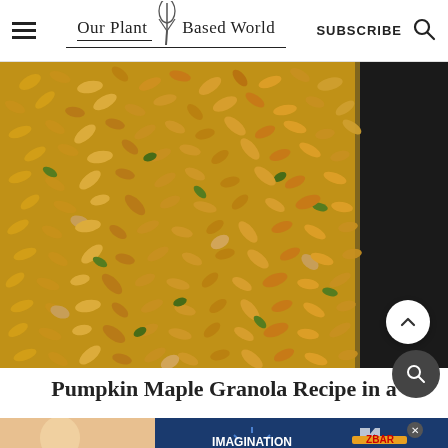Our Plant Based World | SUBSCRIBE
[Figure (photo): Close-up overhead photograph of baked pumpkin maple granola with oats, pumpkin seeds, and almonds spread on a baking sheet lined with parchment paper. The granola is golden-brown and fills most of the frame, with the dark edge of the baking sheet visible on the right.]
Pumpkin Maple Granola Recipe in a
[Figure (other): Advertisement banner featuring a child eating a Clif Kid Z Bar with the text IMAGINATION NEEDS FUEL and a Z Bar product image on a blue background.]